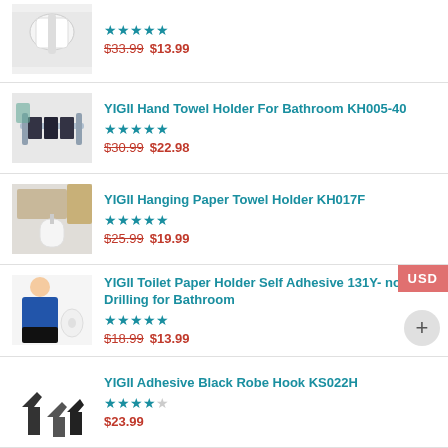[Figure (photo): Paper towel roll holder product image (partial top item)]
$33.99 $13.99
[Figure (photo): YIGII Hand Towel Holder For Bathroom KH005-40 product image]
YIGII Hand Towel Holder For Bathroom KH005-40
★★★★★
$30.99 $22.98
[Figure (photo): YIGII Hanging Paper Towel Holder KH017F product image]
YIGII Hanging Paper Towel Holder KH017F
★★★★★
$25.99 $19.99
[Figure (photo): YIGII Toilet Paper Holder Self Adhesive 131Y product image]
YIGII Toilet Paper Holder Self Adhesive 131Y- no Drilling for Bathroom
★★★★★
$18.99 $13.99
[Figure (photo): YIGII Adhesive Black Robe Hook KS022H product image]
YIGII Adhesive Black Robe Hook KS022H
★★★★☆
$23.99
[Figure (photo): YIGII Tile Hooks For Showers 124-8 product image]
YIGII Tile Hooks For Showers 124-8 🔲8PCS🔲
★★★★★
$12.99